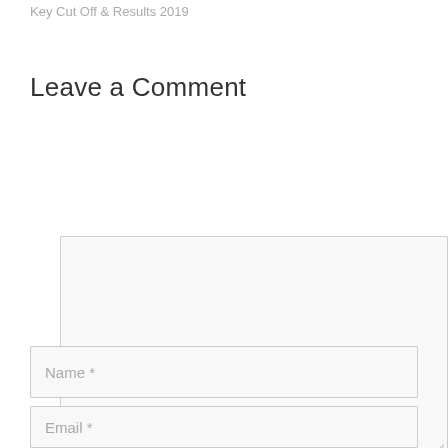Key Cut Off & Results 2019
Leave a Comment
(comment textarea box — empty)
Name *
Email *